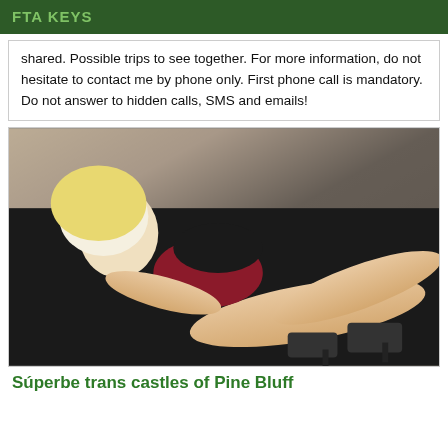FTA KEYS
shared. Possible trips to see together. For more information, do not hesitate to contact me by phone only. First phone call is mandatory. Do not answer to hidden calls, SMS and emails!
[Figure (photo): A blonde woman in a dark red/black outfit posing on a black leather surface]
Súperbe trans castles of Pine Bluff